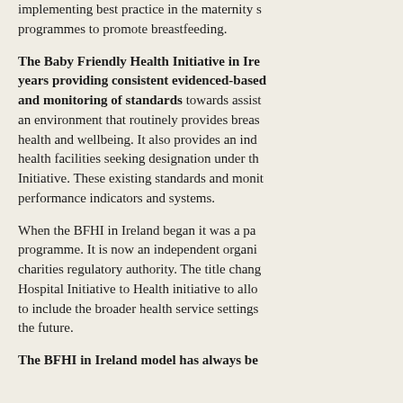implementing best practice in the maternity services and programmes to promote breastfeeding.
The Baby Friendly Health Initiative in Ireland has been for many years providing consistent evidenced-based guidance, training and monitoring of standards towards assisting hospitals to create an environment that routinely provides breastfeeding support for health and wellbeing. It also provides an independent audit for health facilities seeking designation under the Baby Friendly Initiative. These existing standards and monitoring form useful performance indicators and systems.
When the BFHI in Ireland began it was a partnership programme. It is now an independent organisation under the charities regulatory authority. The title changed from Baby Friendly Hospital Initiative to Health initiative to allow the scope to include the broader health service settings and community in the future.
The BFHI in Ireland model has always be...